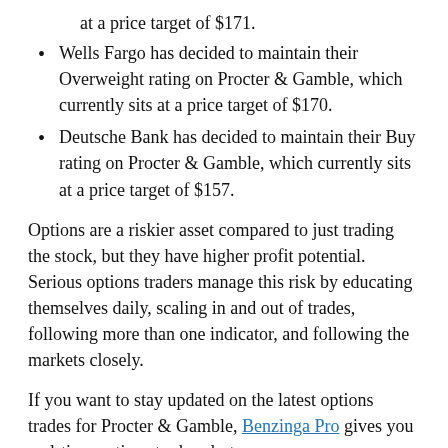at a price target of $171.
Wells Fargo has decided to maintain their Overweight rating on Procter & Gamble, which currently sits at a price target of $170.
Deutsche Bank has decided to maintain their Buy rating on Procter & Gamble, which currently sits at a price target of $157.
Options are a riskier asset compared to just trading the stock, but they have higher profit potential. Serious options traders manage this risk by educating themselves daily, scaling in and out of trades, following more than one indicator, and following the markets closely.
If you want to stay updated on the latest options trades for Procter & Gamble, Benzinga Pro gives you real-time options trades alerts.